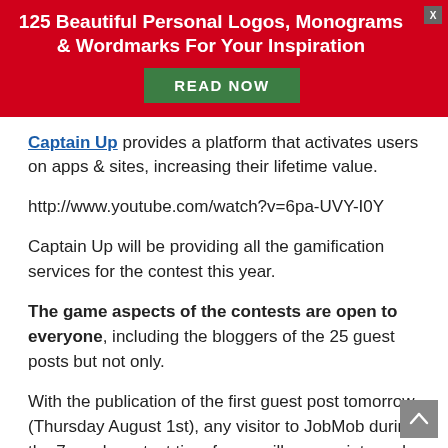[Figure (infographic): Red advertisement banner with white bold title '125 Beautiful Personal Logos, Monograms & Wordmarks For Your Inspiration', a green 'READ NOW' button, and a small gray close (X) button in the top right corner.]
Captain Up provides a platform that activates users on apps & sites, increasing their lifetime value.
http://www.youtube.com/watch?v=6pa-UVY-I0Y
Captain Up will be providing all the gamification services for the contest this year.
The game aspects of the contests are open to everyone, including the bloggers of the 25 guest posts but not only.
With the publication of the first guest post tomorrow (Thursday August 1st), any visitor to JobMob during the 7-week contest time frame will earn points and badges.
For every article you visit, for every comment you make, for